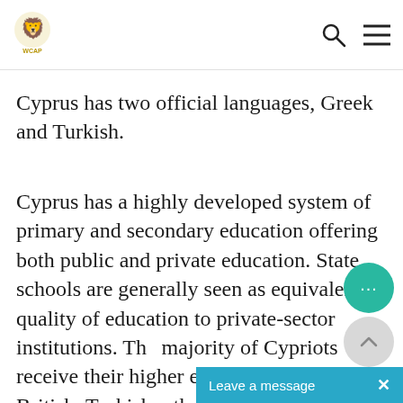WCAP logo, search icon, menu icon
Cyprus has two official languages, Greek and Turkish.
Cyprus has a highly developed system of primary and secondary education offering both public and private education. State schools are generally seen as equivalent in quality of education to private-sector institutions. The majority of Cypriots receive their higher education at Greek, British, Turkish, other European and North American universities.